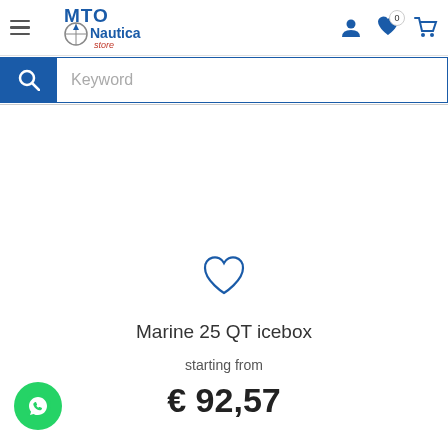[Figure (logo): MTO Nautica store logo with hamburger menu icon on the left and user/wishlist/cart icons on the right]
[Figure (screenshot): Search bar with blue search icon button on left and 'Keyword' placeholder text input on right]
[Figure (illustration): Blue outline heart/wishlist icon]
Marine 25 QT icebox
starting from
€ 92,57